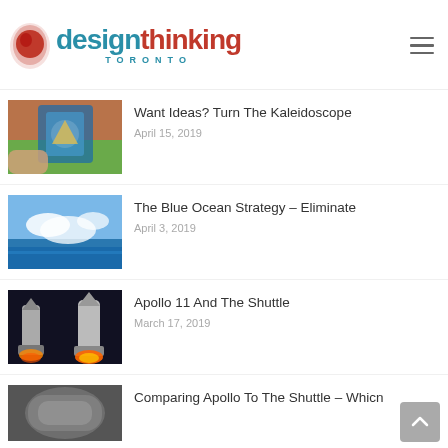design thinking TORONTO
[Figure (screenshot): Thumbnail image of a hand holding a kaleidoscope]
Want Ideas? Turn The Kaleidoscope
April 15, 2019
[Figure (screenshot): Thumbnail image of blue ocean with clouds]
The Blue Ocean Strategy – Eliminate
April 3, 2019
[Figure (screenshot): Thumbnail image of Apollo and Shuttle rocket launches]
Apollo 11 And The Shuttle
March 17, 2019
[Figure (screenshot): Thumbnail image of spacecraft interior comparing Apollo to Shuttle]
Comparing Apollo To The Shuttle – Whicn